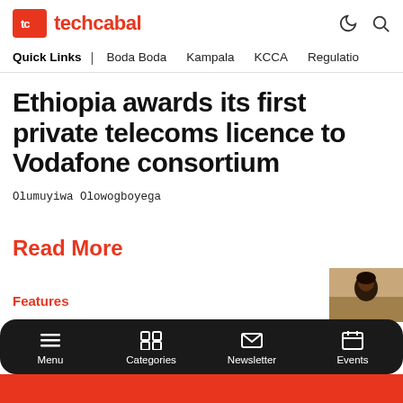tc techcabal
Quick Links | Boda Boda   Kampala   KCCA   Regulatio
Ethiopia awards its first private telecoms licence to Vodafone consortium
Olumuyiwa Olowogboyega
Read More
Features
[Figure (photo): Thumbnail photo of a person with beard outdoors]
Menu   Categories   Newsletter   Events